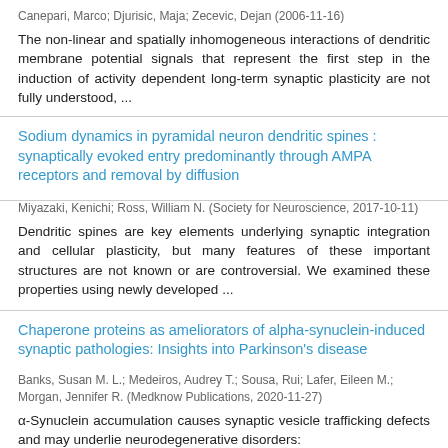Canepari, Marco; Djurisic, Maja; Zecevic, Dejan (2006-11-16)
The non-linear and spatially inhomogeneous interactions of dendritic membrane potential signals that represent the first step in the induction of activity dependent long-term synaptic plasticity are not fully understood, ...
Sodium dynamics in pyramidal neuron dendritic spines : synaptically evoked entry predominantly through AMPA receptors and removal by diffusion
Miyazaki, Kenichi; Ross, William N. (Society for Neuroscience, 2017-10-11)
Dendritic spines are key elements underlying synaptic integration and cellular plasticity, but many features of these important structures are not known or are controversial. We examined these properties using newly developed ...
Chaperone proteins as ameliorators of alpha-synuclein-induced synaptic pathologies: Insights into Parkinson's disease
Banks, Susan M. L.; Medeiros, Audrey T.; Sousa, Rui; Lafer, Eileen M.; Morgan, Jennifer R. (Medknow Publications, 2020-11-27)
α-Synuclein accumulation causes synaptic vesicle trafficking defects and may underlie neurodegenerative disorders: